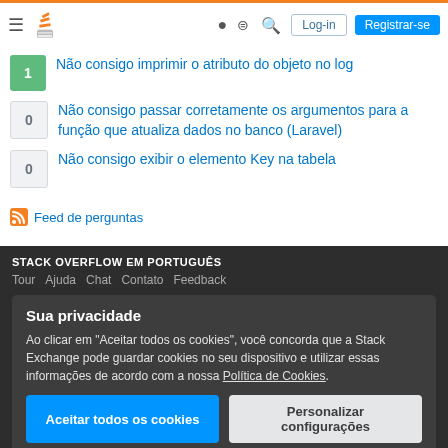Stack Overflow em Português - navigation bar with Log-in and Registrar-se buttons
1 - Não consigo imprimir o atributo do objeto no log
0 - Não consigo passar corretamente os argumentos para a função que atualiza dados no banco (Laravel)
0 - Não consigo exibir o elemento Key na tabela
Feed de perguntas
STACK OVERFLOW EM PORTUGUÊS
Tour  Ajuda  Chat  Contato  Feedback
Sua privacidade
Ao clicar em "Aceitar todos os cookies", você concorda que a Stack Exchange pode guardar cookies no seu dispositivo e utilizar essas informações de acordo com a nossa Política de Cookies.
Aceitar todos os cookies    Personalizar configurações
Technology  Culture & recreation  Life & arts  Science  Professional